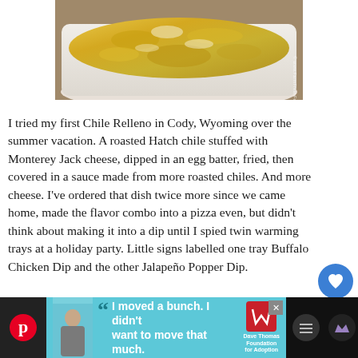[Figure (photo): Close-up photo of a cheesy baked chile relleno dip in a white ramekin dish, with melted golden cheese on top. Watermark reads www.FarmFreshFeasts.com]
I tried my first Chile Relleno in Cody, Wyoming over the summer vacation. A roasted Hatch chile stuffed with Monterey Jack cheese, dipped in an egg batter, fried, then covered in a sauce made from more roasted chiles. And more cheese. I've ordered that dish twice more since we came home, made the flavor combo into a pizza even, but didn't think about making it into a dip until I spied twin warming trays at a holiday party. Little signs labelled one tray Buffalo Chicken Dip and the other Jalapeño Popper Dip.
[Figure (other): Blue circular heart button (save/favorite button)]
[Figure (other): White circular share button with share icon]
[Figure (other): Advertisement banner at bottom: Dave Thomas Foundation for Adoption ad with quote 'I moved a bunch. I didn't want to move that much.' featuring a young man. Dark background with teal/cyan ad section. Pinterest and other social icons on sides.]